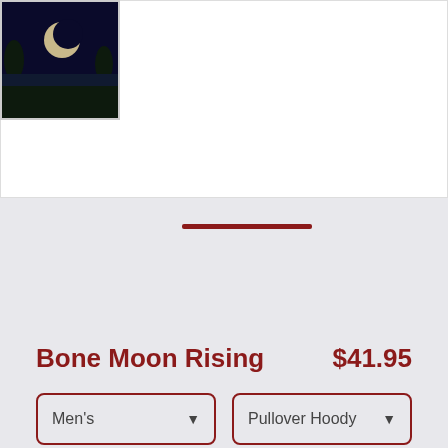[Figure (photo): White product image area (top portion of page)]
[Figure (thumbnail): Small black thumbnail image showing a moon/night scene with a crescent moon and silhouetted trees]
Bone Moon Rising
$41.95
Men's
Pullover Hoody
SELECT YOUR FIT
$41.95
French Terry